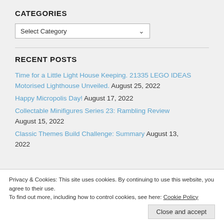CATEGORIES
Select Category
RECENT POSTS
Time for a Little Light House Keeping. 21335 LEGO IDEAS Motorised Lighthouse Unveiled. August 25, 2022
Happy Micropolis Day! August 17, 2022
Collectable Minifigures Series 23: Rambling Review August 15, 2022
Classic Themes Build Challenge: Summary August 13, 2022
Privacy & Cookies: This site uses cookies. By continuing to use this website, you agree to their use. To find out more, including how to control cookies, see here: Cookie Policy
Close and accept
ramblingbrick on Happy Micropolis Day!